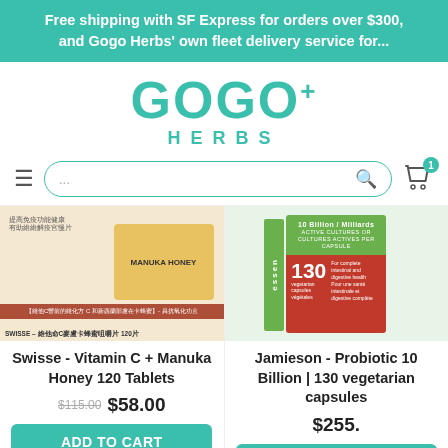Free shipping with SF Express for orders over $300, and Gogo Herbs' own fleet delivery service for...
[Figure (logo): GOGO+ HERBS logo in teal color]
[Figure (screenshot): Search bar with hamburger menu and cart icon showing 1 item]
[Figure (photo): Swisse - Vitamin C + Manuka Honey 120 Tablets product image]
[Figure (photo): Jamieson - Probiotic 10 Billion | 130 vegetarian capsules product image with Essen branding]
Swisse - Vitamin C + Manuka Honey 120 Tablets
Jamieson - Probiotic 10 Billion | 130 vegetarian capsules
$115.00 $58.00
$255.00
ADD TO CART
ADD TO
English